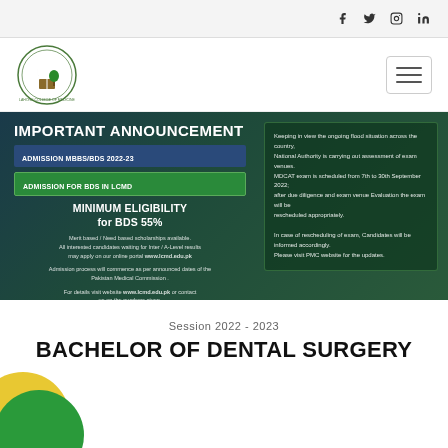Social media icons: Facebook, Twitter, Instagram, LinkedIn
[Figure (logo): Lahore College of Medicine and Dentistry circular logo with crescent and tree]
IMPORTANT ANNOUNCEMENT
ADMISSION MBBS/BDS 2022-23
ADMISSION FOR BDS IN LCMD
MINIMUM ELIGIBILITY for BDS 55%
Merit based / Need based scholarships available. All interested candidates waiting for Inter / A-Level results may apply on our online portal www.lcmd.edu.pk
Admission process will commence as per announced dates of the Pakistan Medical Commission .
For details visit website www.lcmd.edu.pk or contact us on the numbers given.
Keeping in view the ongoing flood situation across the country, National Authority is carrying out assessment of exam venues. MDCAT exam is scheduled from 7th to 30th September 2022; after due diligence and exam venue Evaluation the exam will be rescheduled appropriately.
In case of rescheduling of exam, Candidates will be informed accordingly. Please visit PMC website for the updates.
Session 2022 - 2023
BACHELOR OF DENTAL SURGERY